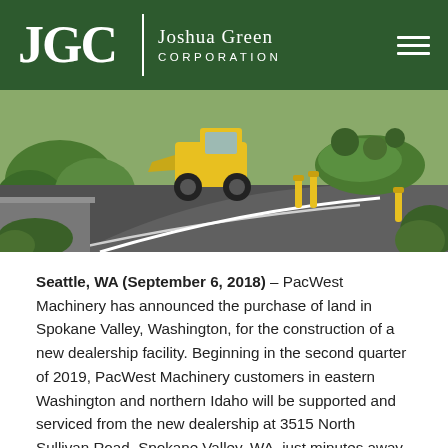JGC | Joshua Green CORPORATION
[Figure (photo): Aerial/ground-level photo of a construction site with a yellow wheel loader on a paved road with white lane markings, bollards, and green landscaping]
Seattle, WA (September 6, 2018) – PacWest Machinery has announced the purchase of land in Spokane Valley, Washington, for the construction of a new dealership facility. Beginning in the second quarter of 2019, PacWest Machinery customers in eastern Washington and northern Idaho will be supported and serviced from the new dealership at 3515 North Sullivan Road, Spokane Valley, WA, just minutes away from the company's current location. PacWest Machinery is the dealer in the Pacific Northwest for Volvo Construction Equipment and